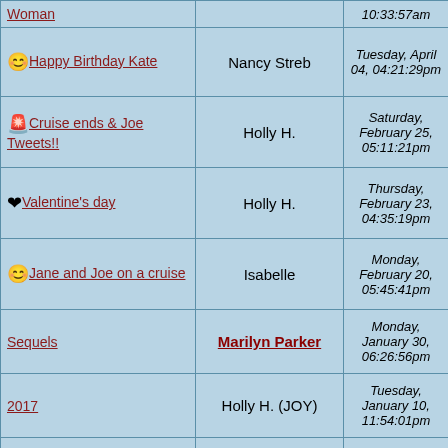| Title | Author | Date | Count |
| --- | --- | --- | --- |
| Woman |  | 10:33:57am |  |
| 😊 Happy Birthday Kate | Nancy Streb | Tuesday, April 04, 04:21:29pm | 2 |
| 🚨 Cruise ends & Joe Tweets!! | Holly H. | Saturday, February 25, 05:11:21pm | 1 |
| ❤️ Valentine's day | Holly H. | Thursday, February 23, 04:35:19pm | 15 |
| 😊 Jane and Joe on a cruise | Isabelle | Monday, February 20, 05:45:41pm | 2 |
| Sequels | Marilyn Parker | Monday, January 30, 06:26:56pm | 1 |
| 2017 | Holly H. (JOY) | Tuesday, January 10, 11:54:01pm | 9 |
| 😊 Happy Birthday Kirsten | Nancy Streb | Saturday, December 31, 03:44:48am | 3 |